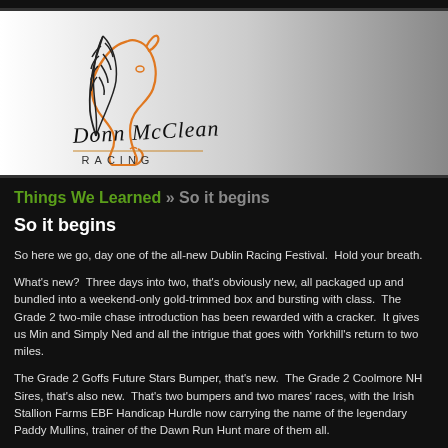[Figure (logo): Donn McClean Racing logo — horse head outline in orange with a feather quill in black, cursive 'Donn McClean' text, and 'RACING' in spaced capitals below, on a white-to-grey gradient banner background]
Things We Learned » So it begins
So it begins
So here we go, day one of the all-new Dublin Racing Festival.  Hold your breath.
What's new?  Three days into two, that's obviously new, all packaged up and bundled into a weekend-only gold-trimmed box and bursting with class.  The Grade 2 two-mile chase introduction has been rewarded with a cracker.  It gives us Min and Simply Ned and all the intrigue that goes with Yorkhill's return to two miles.
The Grade 2 Goffs Future Stars Bumper, that's new.  The Grade 2 Coolmore NH Sires, that's also new.  That's two bumpers and two mares' races, with the Irish Stallion Farms EBF Handicap Hurdle now carrying the name of the legendary Paddy Mullins, trainer of the Dawn Run Hunt mare of them all.
They have taken two furlongs from the Deloitte Hurdle and given them to the Nat...